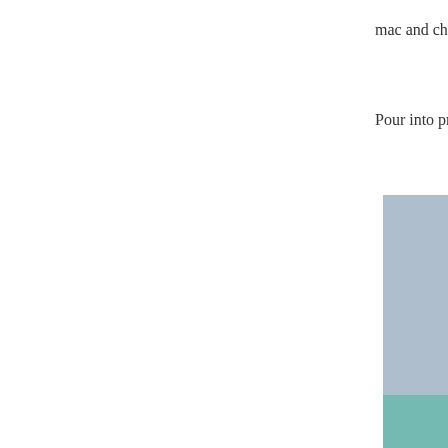mac and cheese with breadcrumbs and grated some ched
Pour into prepared casserole. Bake uncovered for 25-35
[Figure (photo): A serving of baked mac and cheese with breadcrumb topping on a floral-patterned china plate with a fork, set on a teal/green woven placemat background.]